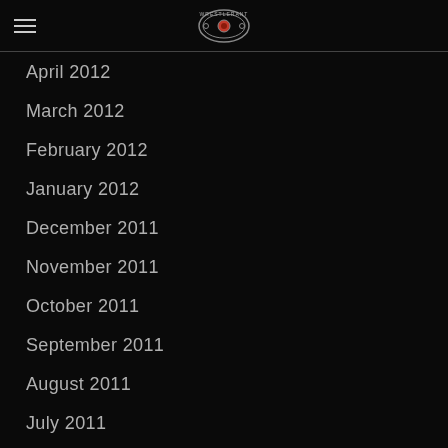WrestleRant logo and navigation
April 2012
March 2012
February 2012
January 2012
December 2011
November 2011
October 2011
September 2011
August 2011
July 2011
June 2011
May 2011
April 2011
March 2011
February 2011
January 2011
December 2010